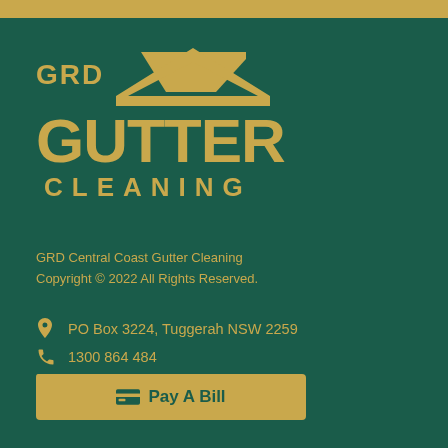[Figure (logo): GRD Gutter Cleaning logo — gold house/roof icon above large bold gold text GUTTER and below CLEANING in spaced capitals]
GRD Central Coast Gutter Cleaning
Copyright © 2022 All Rights Reserved.
PO Box 3224, Tuggerah NSW 2259
1300 864 484
nathan@ccguttercleaning.com.au
www.ccguttercleaning.com.au
Pay A Bill